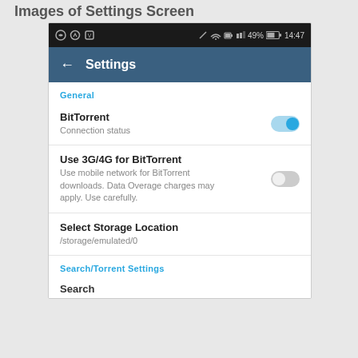Images of Settings Screen
[Figure (screenshot): Android mobile app Settings screen showing: status bar with icons and 14:47 time, Settings header with back arrow, General section with BitTorrent connection status toggle (ON), Use 3G/4G for BitTorrent toggle (OFF) with description, Select Storage Location showing /storage/emulated/0, Search/Torrent Settings section header, and partial Search item.]